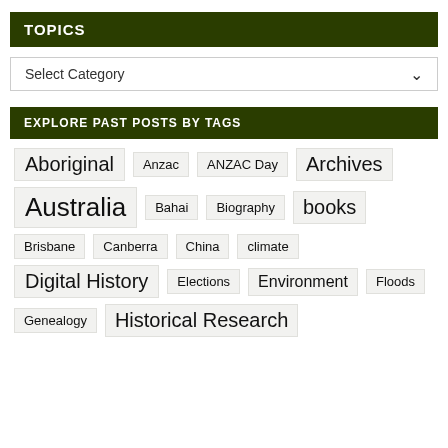TOPICS
Select Category
EXPLORE PAST POSTS BY TAGS
Aboriginal
Anzac
ANZAC Day
Archives
Australia
Bahai
Biography
books
Brisbane
Canberra
China
climate
Digital History
Elections
Environment
Floods
Genealogy
Historical Research